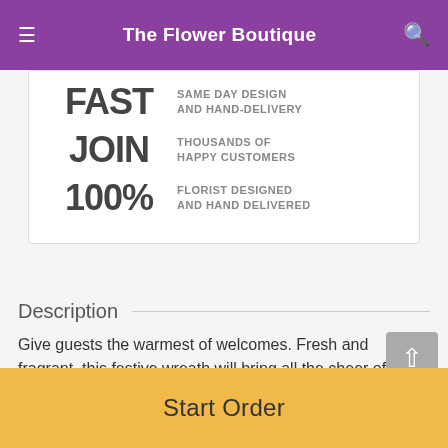The Flower Boutique
[Figure (infographic): Info card with three rows: FAST SAME DAY DESIGN AND HAND-DELIVERY, JOIN THOUSANDS OF HAPPY CUSTOMERS, 100% FLORIST DESIGNED AND HAND DELIVERED]
Description
Give guests the warmest of welcomes. Fresh and fragrant, this festive wreath will bring all the cheer of the season straight to your front door.
Start Order